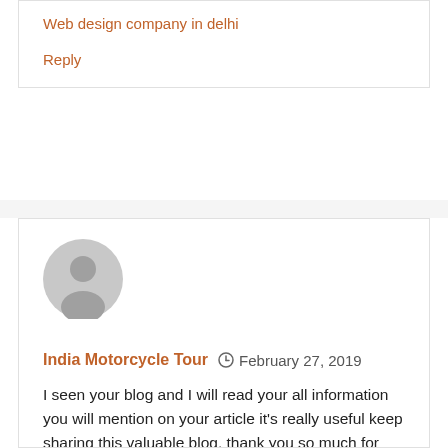Web design company in delhi
Reply
[Figure (illustration): Generic user avatar circle with person silhouette in grey]
India Motorcycle Tour  February 27, 2019
I seen your blog and I will read your all information you will mention on your article it's really useful keep sharing this valuable blog, thank you so much for share with us.
Kerala Motorcycle Tours
Reply